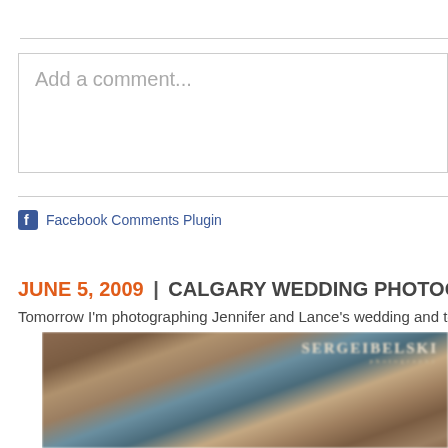Add a comment...
Facebook Comments Plugin
JUNE 5, 2009 | CALGARY WEDDING PHOTOGRAPHER | CA
Tomorrow I'm photographing Jennifer and Lance's wedding and today I was...
[Figure (photo): Blurred interior photograph of what appears to be a church or venue with wooden pews/furniture, with SERGEIBELSKI photography watermark in the upper right corner]